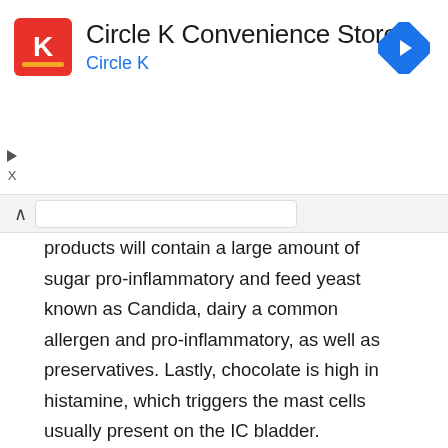[Figure (screenshot): Circle K Convenience Store advertisement banner with Circle K logo (red square with white K), store name in dark text, 'Circle K' subtitle in blue, and a blue diamond navigation arrow icon on the right]
products will contain a large amount of sugar pro-inflammatory and feed yeast known as Candida, dairy a common allergen and pro-inflammatory, as well as preservatives. Lastly, chocolate is high in histamine, which triggers the mast cells usually present on the IC bladder.
Vitamin C, B6, and Multivitamins